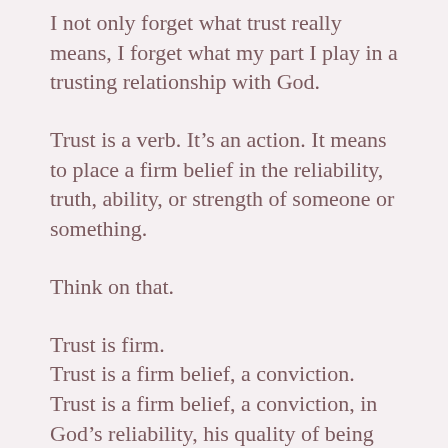I not only forget what trust really means, I forget what my part I play in a trusting relationship with God.
Trust is a verb. It’s an action. It means to place a firm belief in the reliability, truth, ability, or strength of someone or something.
Think on that.
Trust is firm.
Trust is a firm belief, a conviction.
Trust is a firm belief, a conviction, in God’s reliability, his quality of being dependable.
Trust is the conviction in God’s